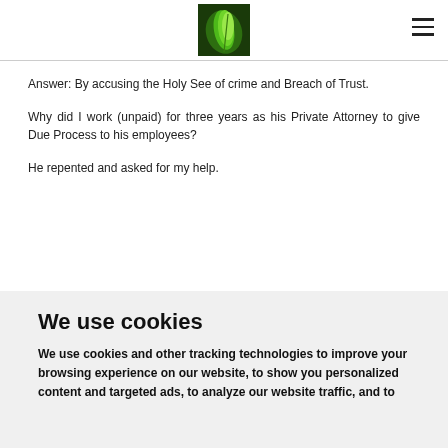[Figure (logo): Green leaf logo image in the page header]
Answer: By accusing the Holy See of crime and Breach of Trust.
Why did I work (unpaid) for three years as his Private Attorney to give Due Process to his employees?
He repented and asked for my help.
We use cookies
We use cookies and other tracking technologies to improve your browsing experience on our website, to show you personalized content and targeted ads, to analyze our website traffic, and to